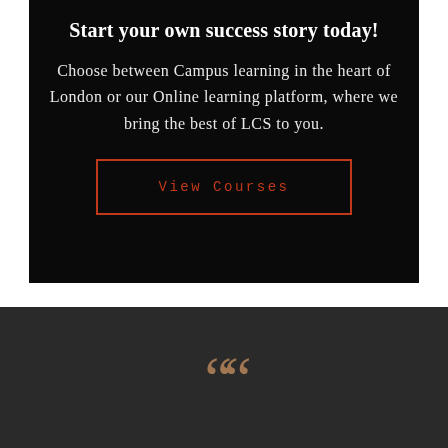Start your own success story today!
Choose between Campus learning in the heart of London or our Online learning platform, where we bring the best of LCS to you.
View Courses
[Figure (illustration): Decorative quotation mark icon in bronze/copper color on dark grey background]